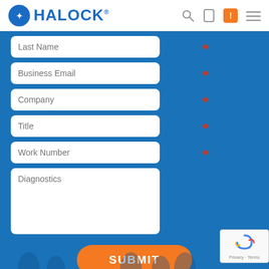HALOCK
[Figure (screenshot): Web form with fields: Last Name, Business Email, Company, Title, Work Number, Diagnostics textarea, and a Submit button on a blue background. HALOCK logo in header with navigation icons. reCAPTCHA badge in bottom right.]